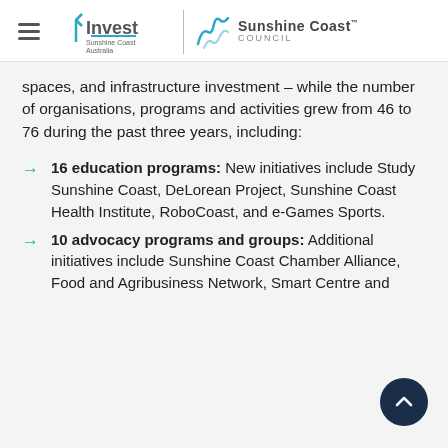[Figure (logo): Invest Sunshine Coast Australia and Sunshine Coast Council logos with hamburger menu icon]
spaces, and infrastructure investment – while the number of organisations, programs and activities grew from 46 to 76 during the past three years, including:
16 education programs: New initiatives include Study Sunshine Coast, DeLorean Project, Sunshine Coast Health Institute, RoboCoast, and e-Games Sports.
10 advocacy programs and groups: Additional initiatives include Sunshine Coast Chamber Alliance, Food and Agribusiness Network, Smart Centre and